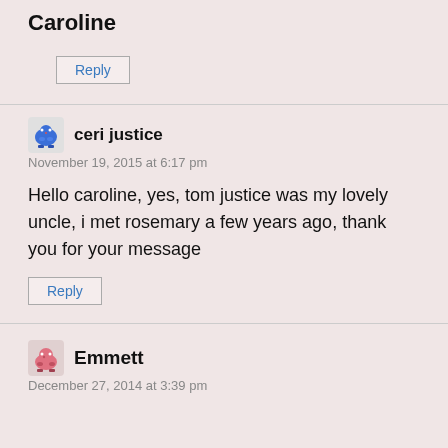Caroline
Reply
ceri justice
November 19, 2015 at 6:17 pm
Hello caroline, yes, tom justice was my lovely uncle, i met rosemary a few years ago, thank you for your message
Reply
Emmett
December 27, 2014 at 3:39 pm